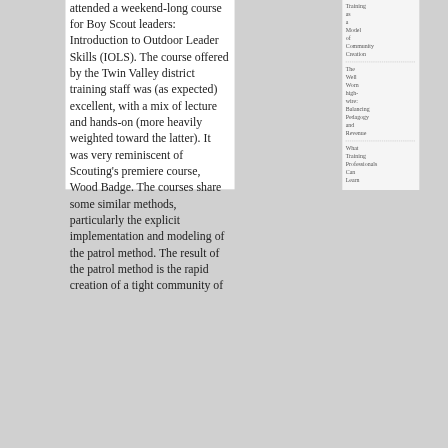attended a weekend-long course for Boy Scout leaders: Introduction to Outdoor Leader Skills (IOLS). The course offered by the Twin Valley district training staff was (as expected) excellent, with a mix of lecture and hands-on (more heavily weighted toward the latter). It was very reminiscent of Scouting's premiere course, Wood Badge. The courses share some similar methods, particularly the explicit implementation and modeling of the patrol method. The result of the patrol method is the rapid creation of a tight community of
Training as a Model of Community Creation
The Well Worn high-wire: Balancing Pedagogy and Revenue
What Training Professionals Can Learn